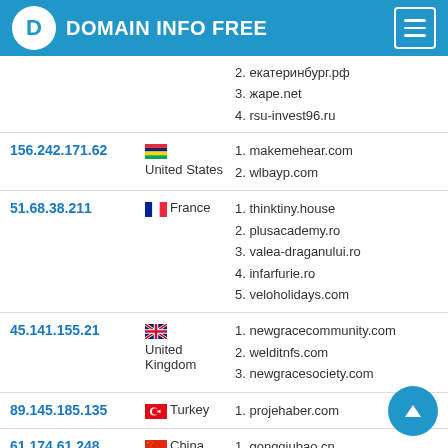DOMAIN INFO FREE
| IP | Country | Domains |
| --- | --- | --- |
|  |  | 2. екатеринбург.рф
3. жаре.net
4. rsu-invest96.ru |
| 156.242.171.62 | United States | 1. makemehear.com
2. wlbayp.com |
| 51.68.38.211 | France | 1. thinktiny.house
2. plusacademy.ro
3. valea-draganului.ro
4. infarfurie.ro
5. veloholidays.com |
| 45.141.155.21 | United Kingdom | 1. newgracecommunity.com
2. welditnfs.com
3. newgracesociety.com |
| 89.145.185.135 | Turkey | 1. projehaber.com |
| 61.174.61.248 | China | 1. gongqiubao.cn |